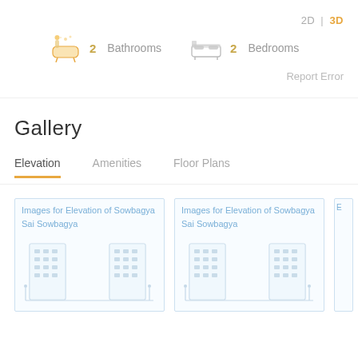2D | 3D
2 Bathrooms  2 Bedrooms
Report Error
Gallery
Elevation   Amenities   Floor Plans
[Figure (photo): Images for Elevation of Sowbagya Sai Sowbagya - building elevation thumbnail placeholder]
[Figure (photo): Images for Elevation of Sowbagya Sai Sowbagya - building elevation thumbnail placeholder]
[Figure (photo): Partially visible image thumbnail at right edge]